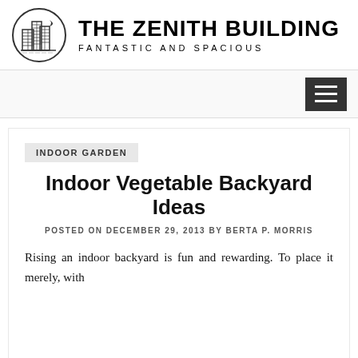[Figure (logo): The Zenith Building logo: circular emblem with illustrated skyscrapers and a crescent moon, next to bold sans-serif site title 'THE ZENITH BUILDING' with subtitle 'FANTASTIC AND SPACIOUS']
[Figure (other): Navigation bar with hamburger menu button (three horizontal white lines on dark background) aligned to the right]
INDOOR GARDEN
Indoor Vegetable Backyard Ideas
POSTED ON DECEMBER 29, 2013 BY BERTA P. MORRIS
Rising an indoor backyard is fun and rewarding. To place it merely, with